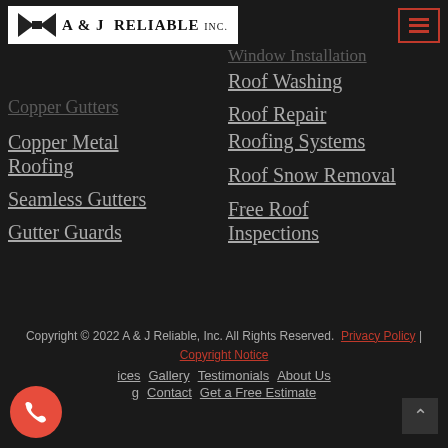[Figure (logo): A & J Reliable Inc. logo with bow-tie graphic on white background]
Window Installation (partially visible, faded at top)
Roof Washing
Copper Gutters (partially visible, faded)
Roof Repair
Copper Metal Roofing
Roofing Systems
Seamless Gutters
Roof Snow Removal
Gutter Guards
Free Roof Inspections
Copyright © 2022 A & J Reliable, Inc. All Rights Reserved.  Privacy Policy | Copyright Notice
Services  Gallery  Testimonials  About Us  Blogging  Contact  Get a Free Estimate